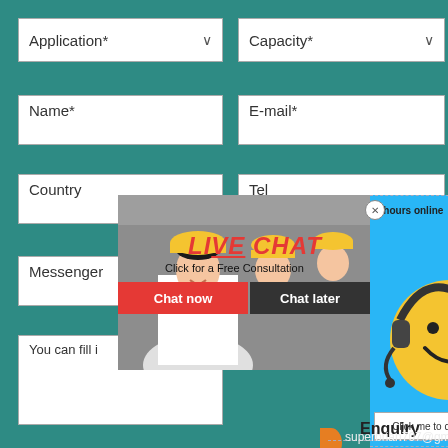Application*
Capacity*
Name*
E-mail*
Country
Tel
Messenger
You can fill i
[Figure (screenshot): Live chat popup overlay showing workers in hard hats, LIVE CHAT text in red italic, 'Click for a Free Consultation', 'Chat now' red button, 'Chat later' dark button, smiley face with headset on blue background, '7 hours online', 'Click me to chat >>' button, Enquiry text, and superbrian707@gma email partial]
7 hours online
LIVE CHAT
Click for a Free Consultation
Chat now
Chat later
Click me to chat >>
Enquiry
superbrian707@gma